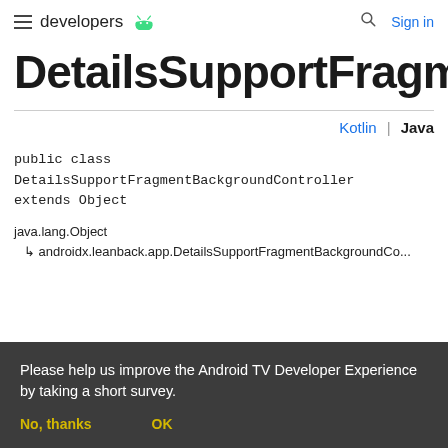developers | Sign in
DetailsSupportFragment
Kotlin | Java
java.lang.Object
  ↳ androidx.leanback.app.DetailsSupportFragmentBackgroundController
Please help us improve the Android TV Developer Experience by taking a short survey.
No, thanks    OK